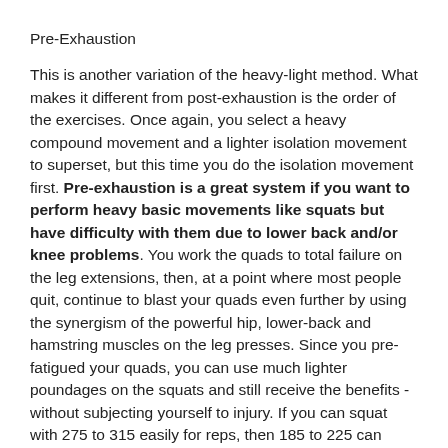Pre-Exhaustion
This is another variation of the heavy-light method. What makes it different from post-exhaustion is the order of the exercises. Once again, you select a heavy compound movement and a lighter isolation movement to superset, but this time you do the isolation movement first. Pre-exhaustion is a great system if you want to perform heavy basic movements like squats but have difficulty with them due to lower back and/or knee problems. You work the quads to total failure on the leg extensions, then, at a point where most people quit, continue to blast your quads even further by using the synergism of the powerful hip, lower-back and hamstring muscles on the leg presses. Since you pre-fatigued your quads, you can use much lighter poundages on the squats and still receive the benefits - without subjecting yourself to injury. If you can squat with 275 to 315 easily for reps, then 185 to 225 can seem just as heavy when your quads are exhausted.